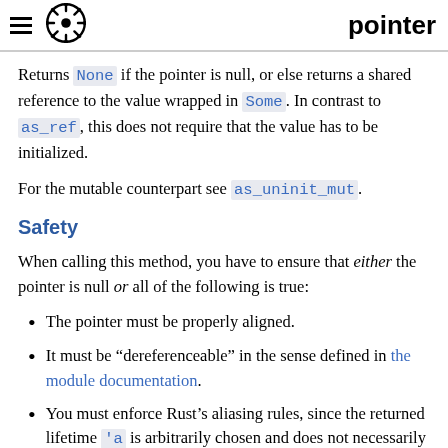pointer
Returns None if the pointer is null, or else returns a shared reference to the value wrapped in Some. In contrast to as_ref, this does not require that the value has to be initialized.
For the mutable counterpart see as_uninit_mut.
Safety
When calling this method, you have to ensure that either the pointer is null or all of the following is true:
The pointer must be properly aligned.
It must be "dereferenceable" in the sense defined in the module documentation.
You must enforce Rust's aliasing rules, since the returned lifetime 'a is arbitrarily chosen and does not necessarily reflect the actual lifetime of the data